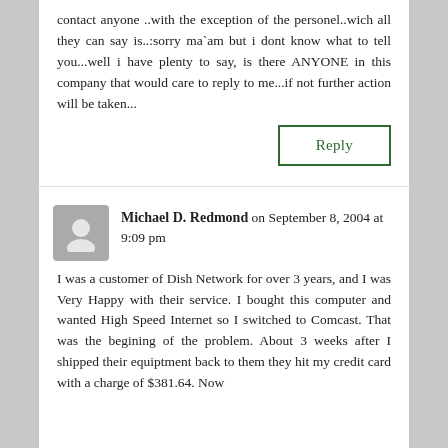contact anyone ..with the exception of the personel..wich all they can say is..:sorry ma`am but i dont know what to tell you...well i have plenty to say, is there ANYONE in this company that would care to reply to me...if not further action will be taken...
Reply
Michael D. Redmond on September 8, 2004 at 9:09 pm
I was a customer of Dish Network for over 3 years, and I was Very Happy with their service. I bought this computer and wanted High Speed Internet so I switched to Comcast. That was the begining of the problem. About 3 weeks after I shipped their equiptment back to them they hit my credit card with a charge of $381.64. Now